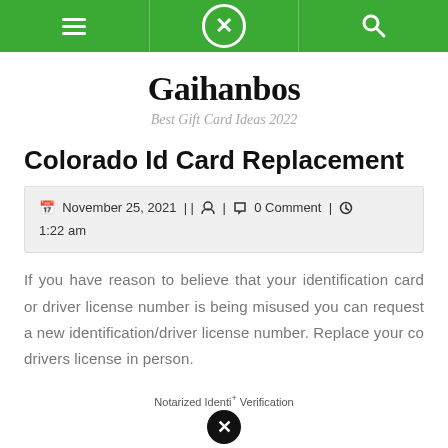Gaihanbos — navigation bar with menu, close, and search icons
Gaihanbos
Best Gift Card Ideas 2022
Colorado Id Card Replacement
November 25, 2021 || [user icon] | [comment icon] 0 Comment | [clock icon] 1:22 am
If you have reason to believe that your identification card or driver license number is being misused you can request a new identification/driver license number. Replace your co drivers license in person.
Notarized Identi+ Verification